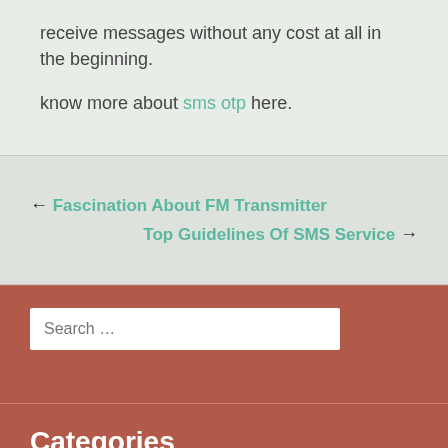receive messages without any cost at all in the beginning.
know more about sms otp here.
← Fascination About FM Transmitter
Top Guidelines Of SMS Service →
Search …
Categories